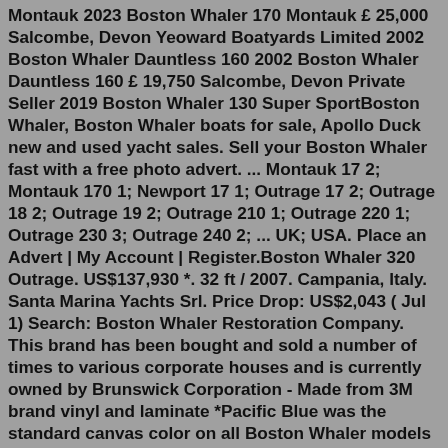Montauk 2023 Boston Whaler 170 Montauk £ 25,000 Salcombe, Devon Yeoward Boatyards Limited 2002 Boston Whaler Dauntless 160 2002 Boston Whaler Dauntless 160 £ 19,750 Salcombe, Devon Private Seller 2019 Boston Whaler 130 Super SportBoston Whaler, Boston Whaler boats for sale, Apollo Duck new and used yacht sales. Sell your Boston Whaler fast with a free photo advert. ... Montauk 17 2; Montauk 170 1; Newport 17 1; Outrage 17 2; Outrage 18 2; Outrage 19 2; Outrage 210 1; Outrage 220 1; Outrage 230 3; Outrage 240 2; ... UK; USA. Place an Advert | My Account | Register.Boston Whaler 320 Outrage. US$137,930 *. 32 ft / 2007. Campania, Italy. Santa Marina Yachts Srl. Price Drop: US$2,043 ( Jul 1) Search: Boston Whaler Restoration Company. This brand has been bought and sold a number of times to various corporate houses and is currently owned by Brunswick Corporation - Made from 3M brand vinyl and laminate *Pacific Blue was the standard canvas color on all Boston Whaler models from 1976-1995 Boston Whaler the leading name of ...